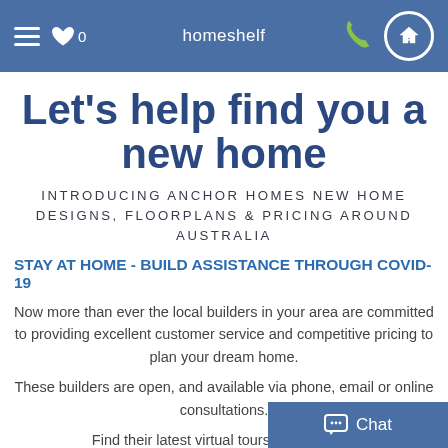homeshelf
Let's help find you a new home
INTRODUCING ANCHOR HOMES NEW HOME DESIGNS, FLOORPLANS & PRICING AROUND AUSTRALIA
STAY AT HOME - BUILD ASSISTANCE THROUGH COVID-19
Now more than ever the local builders in your area are committed to providing excellent customer service and competitive pricing to plan your dream home.
These builders are open, and available via phone, email or online consultations.
Find their latest virtual tours and up-to-da...